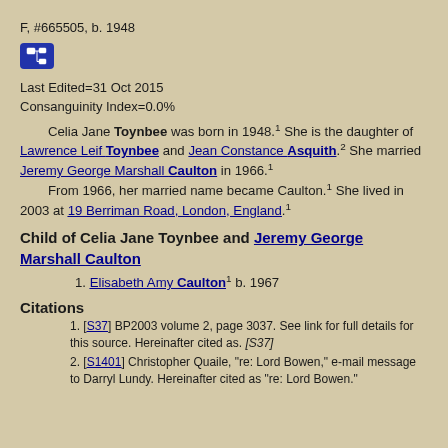F, #665505, b. 1948
[Figure (other): Blue icon button with family tree / pedigree symbol]
Last Edited=31 Oct 2015
Consanguinity Index=0.0%
Celia Jane Toynbee was born in 1948.[1] She is the daughter of Lawrence Leif Toynbee and Jean Constance Asquith.[2] She married Jeremy George Marshall Caulton in 1966.[1]
From 1966, her married name became Caulton.[1] She lived in 2003 at 19 Berriman Road, London, England.[1]
Child of Celia Jane Toynbee and Jeremy George Marshall Caulton
1. Elisabeth Amy Caulton[1] b. 1967
Citations
1. [S37] BP2003 volume 2, page 3037. See link for full details for this source. Hereinafter cited as. [S37]
2. [S1401] Christopher Quaile, "re: Lord Bowen," e-mail message to Darryl Lundy. Hereinafter cited as "re: Lord Bowen."